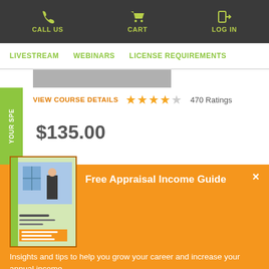CALL US  CART  LOG IN
LIVESTREAM  WEBINARS  LICENSE REQUIREMENTS
VIEW COURSE DETAILS  ★★★★☆ 470 Ratings
$135.00
Free Appraisal Income Guide
Insights and tips to help you grow your career and increase your annual income.
DOWNLOAD NOW